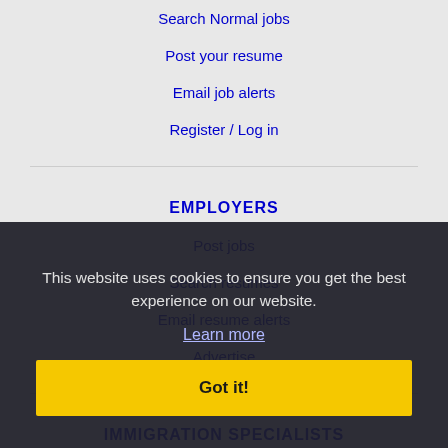Search Normal jobs
Post your resume
Email job alerts
Register / Log in
EMPLOYERS
Post jobs
Search resumes
Email resume alerts
Advertise
IMMIGRATION SPECIALISTS
Post jobs
Immigration FAQs
Learn more
This website uses cookies to ensure you get the best experience on our website.
Learn more
Got it!